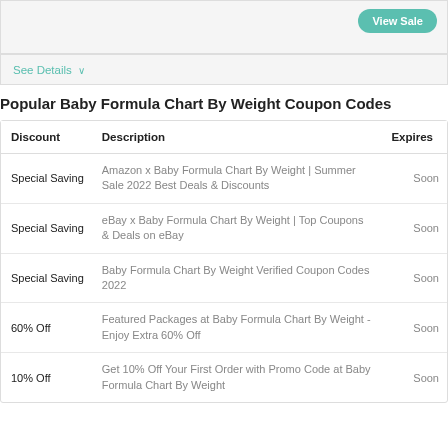[Figure (screenshot): Top bar with View Sale button on teal background]
See Details ∨
Popular Baby Formula Chart By Weight Coupon Codes
| Discount | Description | Expires |
| --- | --- | --- |
| Special Saving | Amazon x Baby Formula Chart By Weight | Summer Sale 2022 Best Deals & Discounts | Soon |
| Special Saving | eBay x Baby Formula Chart By Weight | Top Coupons & Deals on eBay | Soon |
| Special Saving | Baby Formula Chart By Weight Verified Coupon Codes 2022 | Soon |
| 60% Off | Featured Packages at Baby Formula Chart By Weight - Enjoy Extra 60% Off | Soon |
| 10% Off | Get 10% Off Your First Order with Promo Code at Baby Formula Chart By Weight | Soon |